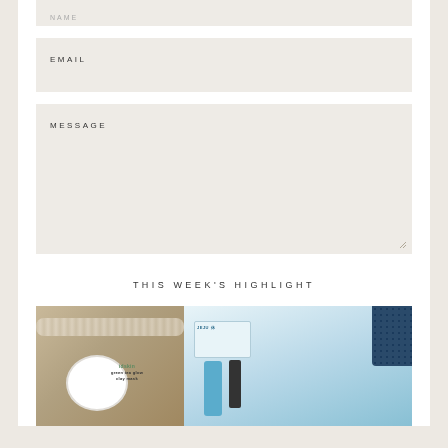EMAIL
MESSAGE
SEND
THIS WEEK'S HIGHLIGHT
[Figure (photo): Two side-by-side beauty product photos: left shows a green-labeled cream jar (idskin brand) on a beige background with pearl necklace; right shows Korean beauty products including tubes and packaging in blue tones.]